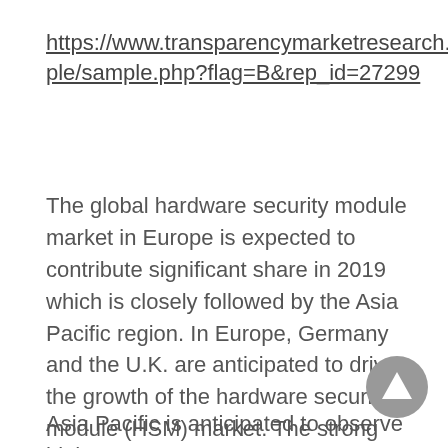https://www.transparencymarketresearch.com/sample/sample.php?flag=B&rep_id=27299
The global hardware security module market in Europe is expected to contribute significant share in 2019 which is closely followed by the Asia Pacific region. In Europe, Germany and the U.K. are anticipated to drive the growth of the hardware security module (HSM) market. The strong deployment of HSM devices in European countries are largely due to frequent cyber-attacks in various institutions such as governments, and banking and financial enterprises.
Asia Pacific is anticipated to observe highest